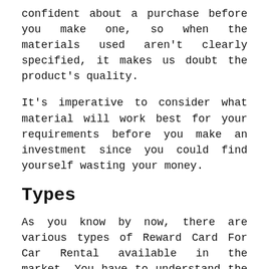confident about a purchase before you make one, so when the materials used aren’t clearly specified, it makes us doubt the product’s quality.
It’s imperative to consider what material will work best for your requirements before you make an investment since you could find yourself wasting your money.
Types
As you know by now, there are various types of Reward Card For Car Rental available in the market. You have to understand the pros and cons of individual types of products before picking the perfect one for your needs.